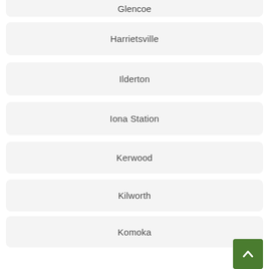Glencoe
Harrietsville
Ilderton
Iona Station
Kerwood
Kilworth
Komoka
London
Lucan